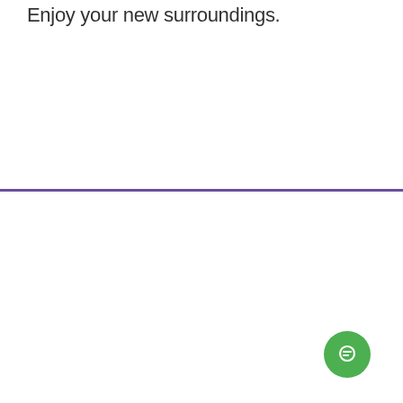Enjoy your new surroundings.
[Figure (infographic): Promotional widget with a green circle containing a leaf icon and a purple rounded rectangle with text 'Try our FREE Hormone Quiz']
[Figure (infographic): Small green circle chat button in bottom right corner]